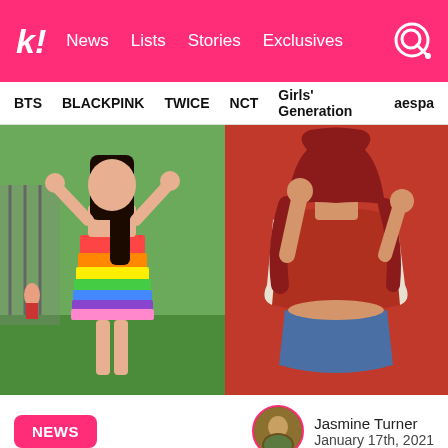k! News Lists Stories Exclusives
BTS  BLACKPINK  TWICE  NCT  Girls' Generation  aespa
[Figure (photo): Two photos side by side: left shows a girl in a rainbow striped dress dancing outdoors on grass; right shows a person in a red halter top and denim shorts against a red wall.]
NEWS   Jasmine Turner  January 17th, 2021
Red Velvet's Joy recently hit 10 million